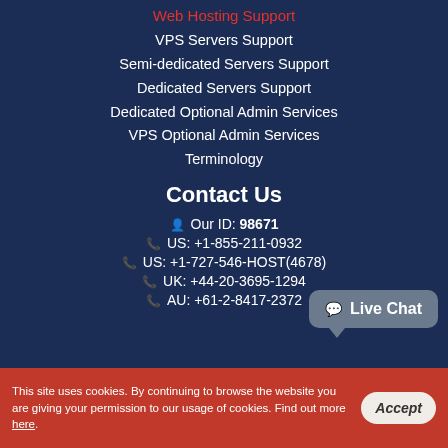Web Hosting Support
VPS Servers Support
Semi-dedicated Servers Support
Dedicated Servers Support
Dedicated Optional Admin Services
VPS Optional Admin Services
Terminology
Contact Us
Our ID: 98671
US: +1-855-211-0932
US: +1-727-546-HOST(4678)
UK: +44-20-3695-1294
AU: +61-2-8417-2372
[Figure (other): Live Chat button widget]
This site uses cookies. By continuing to browse the website you are giving your permission to our usage of cookies. Find out more here.